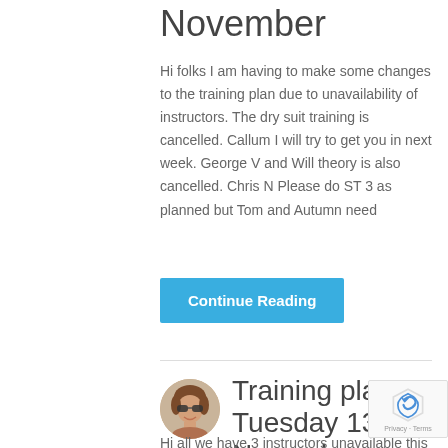November
Hi folks I am having to make some changes to the training plan due to unavailability of instructors. The dry suit training is cancelled. Callum I will try to get you in next week. George V and Will theory is also cancelled. Chris N Please do ST 3 as planned but Tom and Autumn need
Continue Reading
Training plan Tuesday 13 November
Hi all we have 3 instructors unavailable this